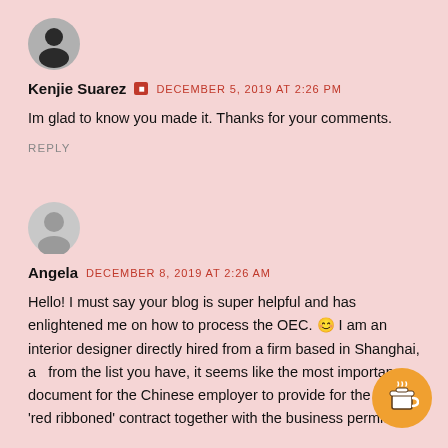[Figure (illustration): User avatar - dark silhouette of a person (top portion visible), circular crop]
Kenjie Suarez [admin] DECEMBER 5, 2019 AT 2:26 PM
Im glad to know you made it. Thanks for your comments.
REPLY
[Figure (illustration): User avatar - gray silhouette of anonymous person, circular]
Angela DECEMBER 8, 2019 AT 2:26 AM
Hello! I must say your blog is super helpful and has enlightened me on how to process the OEC. 😊 I am an interior designer directly hired from a firm based in Shanghai, a... from the list you have, it seems like the most importan... document for the Chinese employer to provide for the O... the 'red ribboned' contract together with the business permits
[Figure (illustration): Orange circular coffee cup button/widget in bottom right corner]